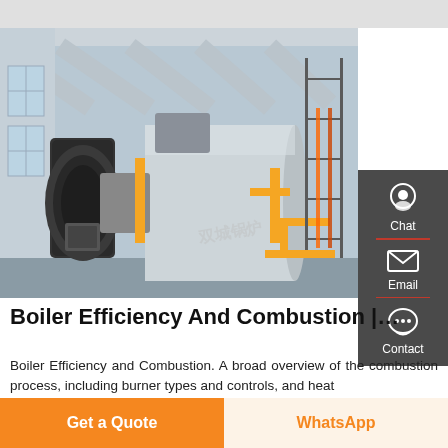[Figure (photo): Industrial boiler room with large cylindrical horizontal boilers, yellow pipes, black burner fronts, scaffolding, and gray ceiling beams. Watermark text visible in lower right of photo.]
Boiler Efficiency And Combustion |…
Boiler Efficiency and Combustion. A broad overview of the combustion process, including burner types and controls, and heat
Get a Quote
WhatsApp